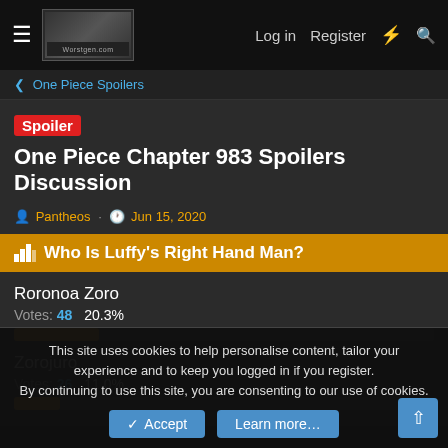≡  [logo]  Log in  Register  ⚡  🔍
< One Piece Spoilers
Spoiler  One Piece Chapter 983 Spoilers Discussion
Pantheos · Jun 15, 2020
📊 Who Is Luffy's Right Hand Man?
Roronoa Zoro
Votes: 48   20.3%
Zorojuro
Votes: 26   11.0%
This site uses cookies to help personalise content, tailor your experience and to keep you logged in if you register.
By continuing to use this site, you are consenting to our use of cookies.
✓ Accept    Learn more...